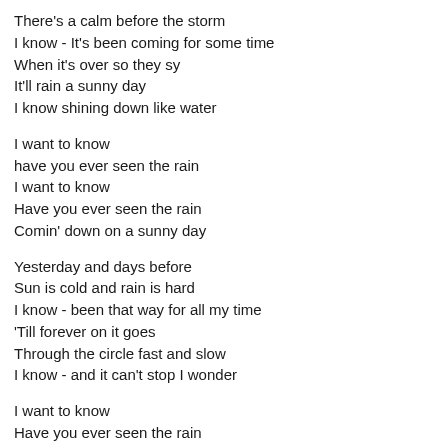There's a calm before the storm
I know - It's been coming for some time
When it's over so they sy
It'll rain a sunny day
I know shining down like water
I want to know
have you ever seen the rain
I want to know
Have you ever seen the rain
Comin' down on a sunny day
Yesterday and days before
Sun is cold and rain is hard
I know - been that way for all my time
'Till forever on it goes
Through the circle fast and slow
I know - and it can't stop I wonder
I want to know
Have you ever seen the rain
I want to know
Have you ever seen the rain
Comin' down on a sunny day
Someone told me long ago